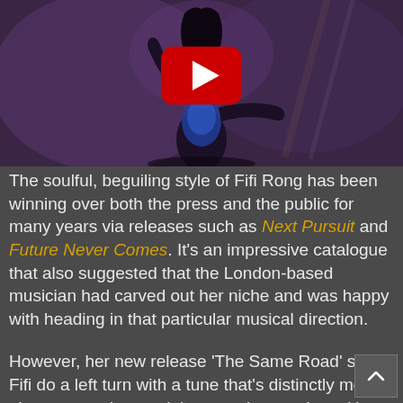[Figure (screenshot): Video thumbnail showing a dancer with arms raised in a purple-lit scene, with a YouTube play button overlay in the center]
The soulful, beguiling style of Fifi Rong has been winning over both the press and the public for many years via releases such as Next Pursuit and Future Never Comes. It's an impressive catalogue that also suggested that the London-based musician had carved out her niche and was happy with heading in that particular musical direction.
However, her new release 'The Same Road' sees Fifi do a left turn with a tune that's distinctly more electropop-orientated than previous outings. Here, the lush soundscapes are put to one side for a cleaner, sharper